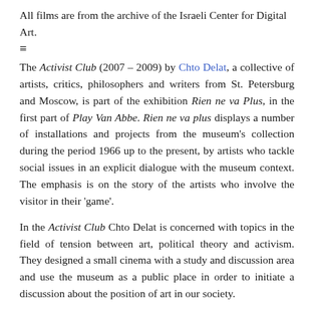All films are from the archive of the Israeli Center for Digital Art.
[Figure (other): Hamburger menu icon (three horizontal lines)]
The Activist Club (2007 – 2009) by Chto Delat, a collective of artists, critics, philosophers and writers from St. Petersburg and Moscow, is part of the exhibition Rien ne va Plus, in the first part of Play Van Abbe. Rien ne va plus displays a number of installations and projects from the museum's collection during the period 1966 up to the present, by artists who tackle social issues in an explicit dialogue with the museum context. The emphasis is on the story of the artists who involve the visitor in their 'game'.
In the Activist Club Chto Delat is concerned with topics in the field of tension between art, political theory and activism. They designed a small cinema with a study and discussion area and use the museum as a public place in order to initiate a discussion about the position of art in our society.
Lecture: Art Theft in Soviet Film by Oleksiy Radynski
This lecture (29.07.2010) is part of the accompanying film program for the Activist Club.